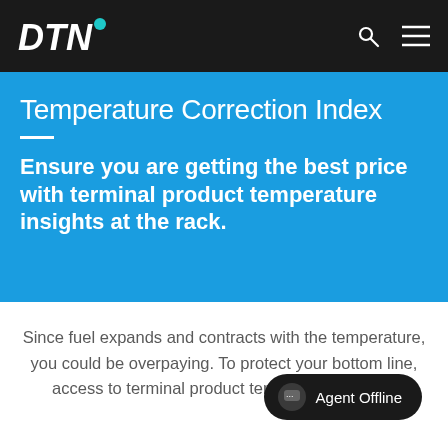DTN
Temperature Correction Index
Ensure you are getting the best price with terminal product temperature insights at the rack.
Since fuel expands and contracts with the temperature, you could be overpaying. To protect your bottom line, access to terminal product data —
Agent Offline